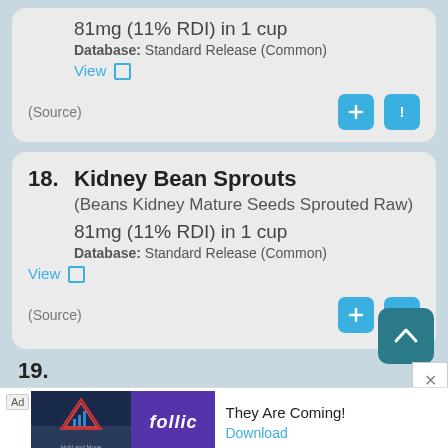81mg (11% RDI) in 1 cup
Database: Standard Release (Common)
View
(Source)
18. Kidney Bean Sprouts
(Beans Kidney Mature Seeds Sprouted Raw)
81mg (11% RDI) in 1 cup
Database: Standard Release (Common)
View
(Source)
19.